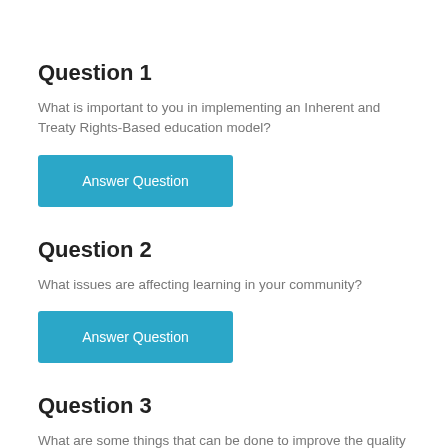Question 1
What is important to you in implementing an Inherent and Treaty Rights-Based education model?
Answer Question
Question 2
What issues are affecting learning in your community?
Answer Question
Question 3
What are some things that can be done to improve the quality of education in your community?